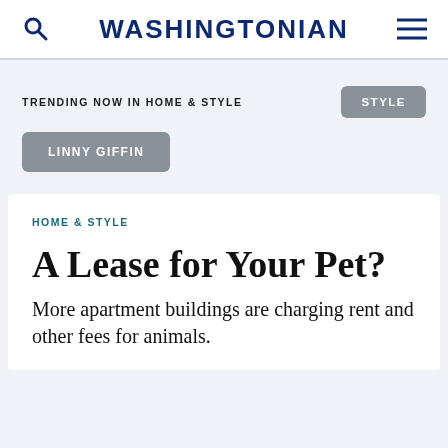WASHINGTONIAN
TRENDING NOW IN HOME & STYLE
STYLE
LINNY GIFFIN
HOME & STYLE
A Lease for Your Pet?
More apartment buildings are charging rent and other fees for animals.